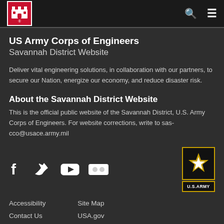US Army Corps of Engineers - Savannah District Website
US Army Corps of Engineers
Savannah District Website
Deliver vital engineering solutions, in collaboration with our partners, to secure our Nation, energize our economy, and reduce disaster risk.
About the Savannah District Website
This is the official public website of the Savannah District, U.S. Army Corps of Engineers. For website corrections, write to sas-cco@usace.army.mil
[Figure (logo): US Army Corps of Engineers castle logo (red background, white castle)]
[Figure (logo): U.S. Army star logo with gold star on dark background and U.S.ARMY text]
Accessibility
Site Map
Contact Us
USA.gov